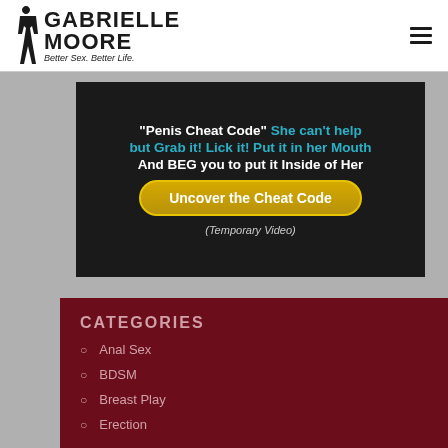[Figure (logo): Gabrielle Moore - Better Sex. Better Life. logo with silhouette figure]
[Figure (screenshot): Advertisement banner with text: 'Penis Cheat Code' She can't help but Grab it! Lick it! Put it in her Mouth And BEG you to put it Inside of Her, with yellow button 'Uncover the Cheat Code' and note '(Temporary Video)']
CATEGORIES
Anal Sex
BDSM
Breast Play
Erection